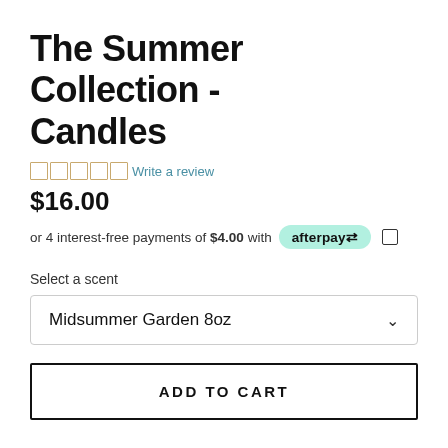The Summer Collection - Candles
Write a review
$16.00
or 4 interest-free payments of $4.00 with afterpay
Select a scent
Midsummer Garden 8oz
ADD TO CART